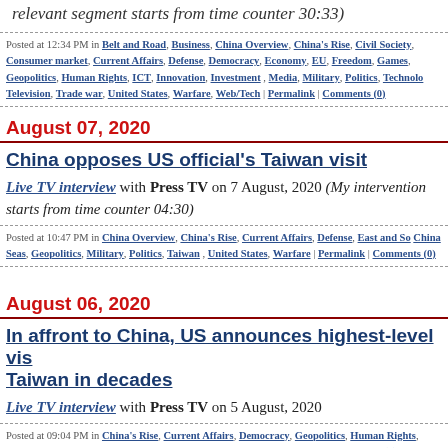relevant segment starts from time counter 30:33)
Posted at 12:34 PM in Belt and Road, Business, China Overview, China's Rise, Civil Society, Consumer market, Current Affairs, Defense, Democracy, Economy, EU, Freedom, Games, Geopolitics, Human Rights, ICT, Innovation, Investment, Media, Military, Politics, Technology, Television, Trade war, United States, Warfare, Web/Tech | Permalink | Comments (0)
August 07, 2020
China opposes US official's Taiwan visit
Live TV interview with Press TV on 7 August, 2020 (My intervention starts from time counter 04:30)
Posted at 10:47 PM in China Overview, China's Rise, Current Affairs, Defense, East and South China Seas, Geopolitics, Military, Politics, Taiwan, United States, Warfare | Permalink | Comments (0)
August 06, 2020
In affront to China, US announces highest-level visit to Taiwan in decades
Live TV interview with Press TV on 5 August, 2020
Posted at 09:04 PM in China's Rise, Current Affairs, Democracy, Geopolitics, Human Rights, Media, Politics, Taiwan, Television, United States, Warfare | Permalink | Comments (0)